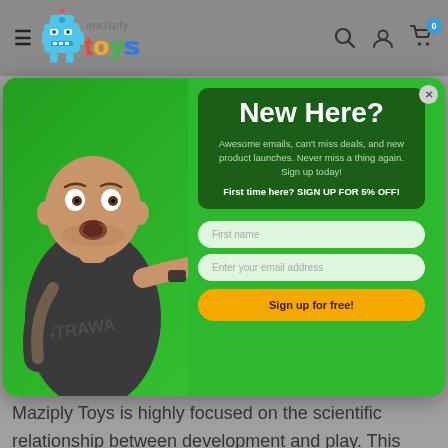[Figure (screenshot): Maziply Toys website header with hamburger menu, logo (robot toy with colorful text), search icon, account icon, and cart icon with badge showing 0]
[Figure (screenshot): Email signup modal popup with green background. Left side shows a surprised bald man in a Hogwarts t-shirt pointing right. Right side has dark green box with 'New Here?' heading, promo text about emails and deals, '5% OFF' offer, First name field, email field, and 'Sign up for free!' yellow button.]
Maziply Toys is highly focused on the scientific relationship between development and play. This item